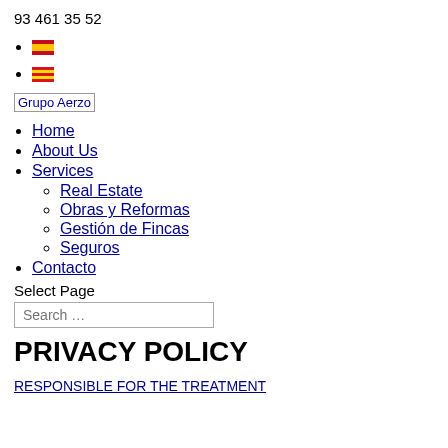93 461 35 52
🇪🇸 (Spanish flag)
🏳️ (Catalan flag)
[Figure (logo): Grupo Aerzo logo link]
Home
About Us
Services
Real Estate
Obras y Reformas
Gestión de Fincas
Seguros
Contacto
Select Page
Search ...
PRIVACY POLICY
RESPONSIBLE FOR THE TREATMENT